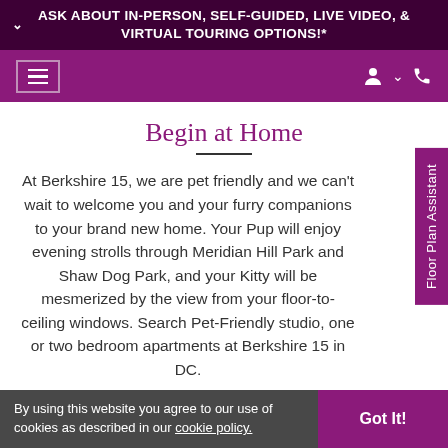ASK ABOUT IN-PERSON, SELF-GUIDED, LIVE VIDEO, & VIRTUAL TOURING OPTIONS!*
[Figure (screenshot): Navigation bar with hamburger menu icon on left and user/phone icons on right, purple background]
Begin at Home
At Berkshire 15, we are pet friendly and we can't wait to welcome you and your furry companions to your brand new home. Your Pup will enjoy evening strolls through Meridian Hill Park and Shaw Dog Park, and your Kitty will be mesmerized by the view from your floor-to-ceiling windows. Search Pet-Friendly studio, one or two bedroom apartments at Berkshire 15 in DC.
By using this website you agree to our use of cookies as described in our cookie policy.